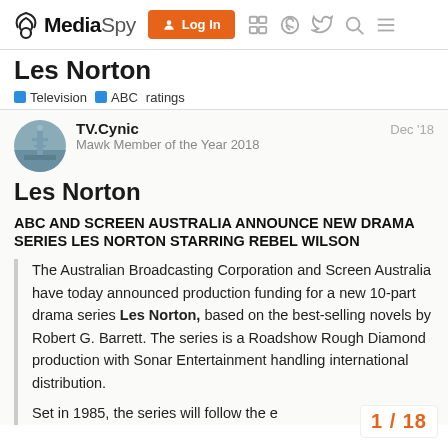MediaSpy — Log In — navigation icons
Les Norton
Television  ABC  ratings
TV.Cynic
Mawk Member of the Year 2018
Dec '18
Les Norton
ABC AND SCREEN AUSTRALIA ANNOUNCE NEW DRAMA SERIES LES NORTON STARRING REBEL WILSON
The Australian Broadcasting Corporation and Screen Australia have today announced production funding for a new 10-part drama series Les Norton, based on the best-selling novels by Robert G. Barrett. The series is a Roadshow Rough Diamond production with Sonar Entertainment handling international distribution.
Set in 1985, the series will follow the e
1 / 18